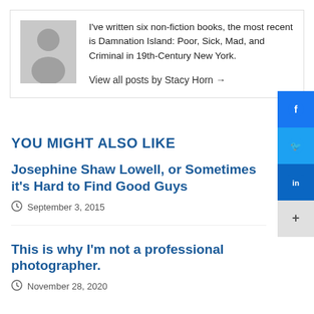I've written six non-fiction books, the most recent is Damnation Island: Poor, Sick, Mad, and Criminal in 19th-Century New York.
View all posts by Stacy Horn →
[Figure (illustration): Generic grey silhouette avatar placeholder image]
YOU MIGHT ALSO LIKE
Josephine Shaw Lowell, or Sometimes it's Hard to Find Good Guys
September 3, 2015
This is why I'm not a professional photographer.
November 28, 2020